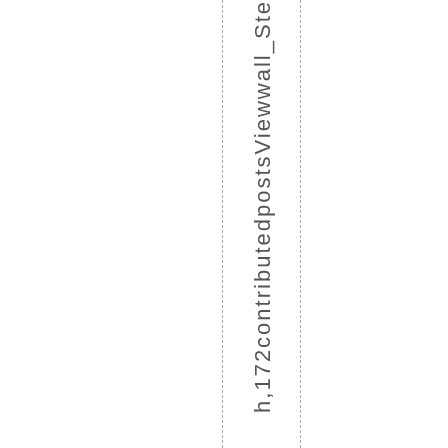h,172contributedpostsViewwall_Ste